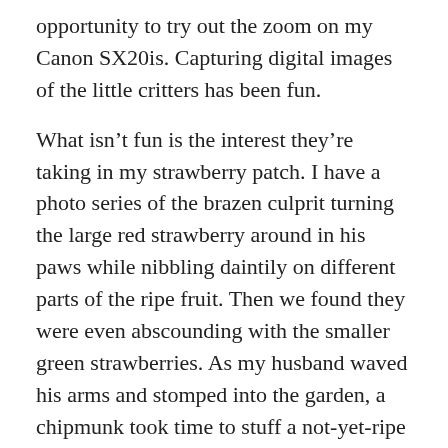opportunity to try out the zoom on my Canon SX20is. Capturing digital images of the little critters has been fun.
What isn't fun is the interest they're taking in my strawberry patch. I have a photo series of the brazen culprit turning the large red strawberry around in his paws while nibbling daintily on different parts of the ripe fruit. Then we found they were even abscounding with the smaller green strawberries. As my husband waved his arms and stomped into the garden, a chipmunk took time to stuff a not-yet-ripe strawberry into each cheek before running away to safety.
[Figure (photo): A partial photograph showing green grass/pine needles and a tree trunk with light-colored bark, taken outdoors in natural lighting.]